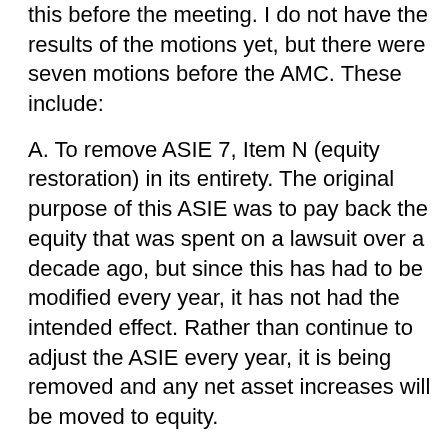this before the meeting. I do not have the results of the motions yet, but there were seven motions before the AMC. These include:
A. To remove ASIE 7, Item N (equity restoration) in its entirety. The original purpose of this ASIE was to pay back the equity that was spent on a lawsuit over a decade ago, but since this has had to be modified every year, it has not had the intended effect. Rather than continue to adjust the ASIE every year, it is being removed and any net asset increases will be moved to equity.
B. To appoint an Auditor. This is an annual motion that takes place during the March meeting together with the adoption of the annual budget.
C. To adopt the 2020-2021 budget. This is also an annual action.
D. To adopt the 2020-2025 Strategic